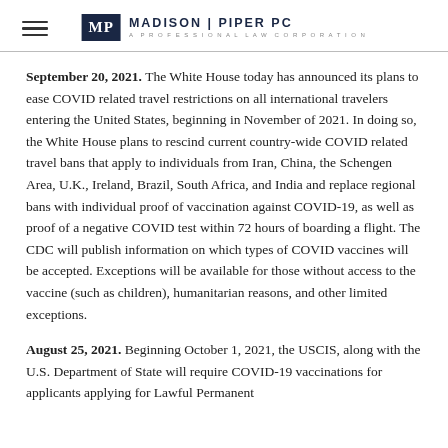MADISON PIPER PC — A PROFESSIONAL LAW CORPORATION
September 20, 2021. The White House today has announced its plans to ease COVID related travel restrictions on all international travelers entering the United States, beginning in November of 2021. In doing so, the White House plans to rescind current country-wide COVID related travel bans that apply to individuals from Iran, China, the Schengen Area, U.K., Ireland, Brazil, South Africa, and India and replace regional bans with individual proof of vaccination against COVID-19, as well as proof of a negative COVID test within 72 hours of boarding a flight. The CDC will publish information on which types of COVID vaccines will be accepted. Exceptions will be available for those without access to the vaccine (such as children), humanitarian reasons, and other limited exceptions.
August 25, 2021. Beginning October 1, 2021, the USCIS, along with the U.S. Department of State will require COVID-19 vaccinations for applicants applying for Lawful Permanent